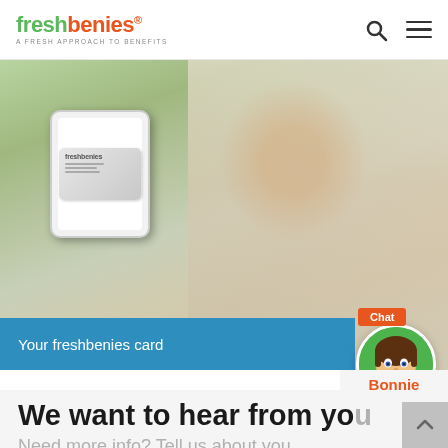freshbenies® A FRESH APPROACH TO BENEFITS
[Figure (screenshot): Hero image of a smiling woman holding a smartphone displaying a freshbenies card. A blue banner reads 'Your freshbenies card'. A chat widget with an animated female avatar labeled 'Chat' and 'Bonnie' appears in the lower right of the image.]
We want to hear from yo
Need more info? Tell us about you